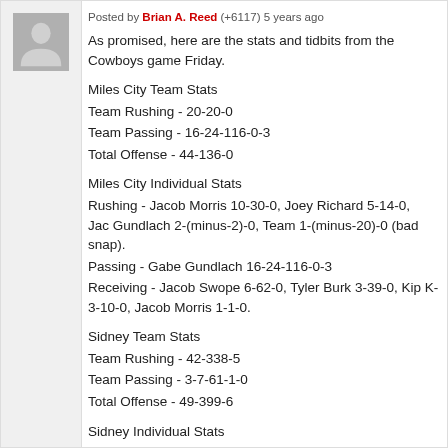[Figure (photo): Avatar/profile image placeholder - grey square with white silhouette]
Posted by Brian A. Reed (+6117) 5 years ago
As promised, here are the stats and tidbits from the Cowboys game Friday.
Miles City Team Stats
Team Rushing - 20-20-0
Team Passing - 16-24-116-0-3
Total Offense - 44-136-0
Miles City Individual Stats
Rushing - Jacob Morris 10-30-0, Joey Richard 5-14-0, Jac Gundlach 2-(minus-2)-0, Team 1-(minus-20)-0 (bad snap).
Passing - Gabe Gundlach 16-24-116-0-3
Receiving - Jacob Swope 6-62-0, Tyler Burk 3-39-0, Kip Ku 3-10-0, Jacob Morris 1-1-0.
Sidney Team Stats
Team Rushing - 42-338-5
Team Passing - 3-7-61-1-0
Total Offense - 49-399-6
Sidney Individual Stats
Rushing - Alec Lovegren 18-159-3, Dawson McGlothlin 16